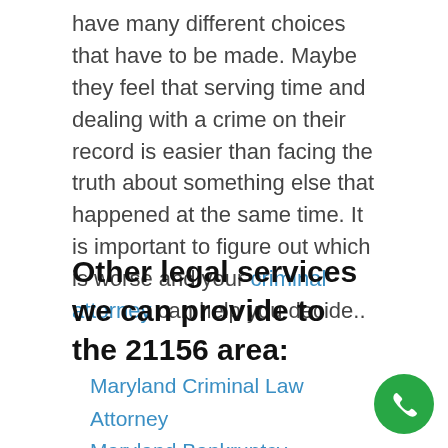have many different choices that have to be made. Maybe they feel that serving time and dealing with a crime on their record is easier than facing the truth about something else that happened at the same time. It is important to figure out which is worse and your criminal attorney can help you decide..
Other legal services we can provide to the 21156 area:
Maryland Criminal Law Attorney
Maryland Bankruptcy Discharge
Legal Separation Simpsonville MD
Medical Malpractice Attorneys
Best Car Injury Attorney
Work Injury Lawyers For You